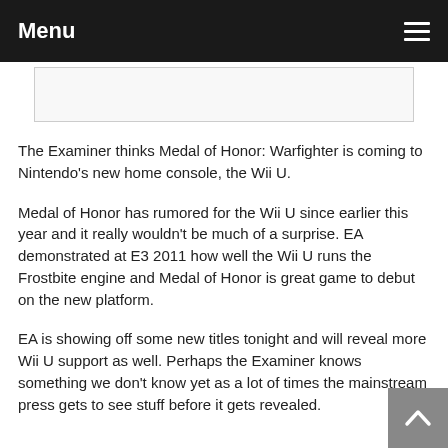Menu
[Figure (other): Empty white image placeholder box with light border]
The Examiner thinks Medal of Honor: Warfighter is coming to Nintendo's new home console, the Wii U.
Medal of Honor has rumored for the Wii U since earlier this year and it really wouldn't be much of a surprise. EA demonstrated at E3 2011 how well the Wii U runs the Frostbite engine and Medal of Honor is great game to debut on the new platform.
EA is showing off some new titles tonight and will reveal more Wii U support as well. Perhaps the Examiner knows something we don't know yet as a lot of times the mainstream press gets to see stuff before it gets revealed.